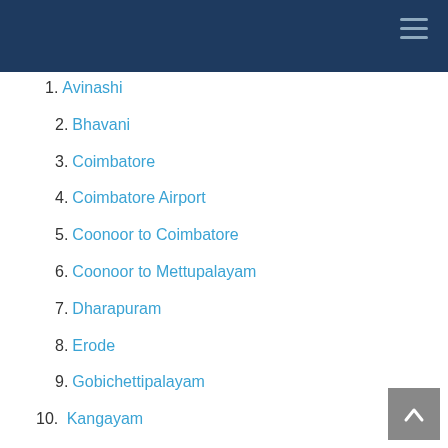1. Avinashi
2. Bhavani
3. Coimbatore
4. Coimbatore Airport
5. Coonoor to Coimbatore
6. Coonoor to Mettupalayam
7. Dharapuram
8. Erode
9. Gobichettipalayam
10. Kangayam
11. Karamadai
12. Karur
13. Mettupalayam
14. Mettupalayam Black Thunder
15. Mettupalayam to Coimbatore
16. Perundurai
17. Pollachi